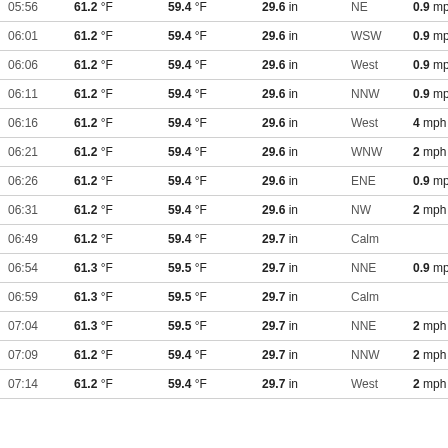| Time | Temp | Dew Point | Pressure | Wind Dir | Wind Speed |
| --- | --- | --- | --- | --- | --- |
| 05:56 | 61.2 °F | 59.4 °F | 29.6 in | NE | 0.9 mph |
| 06:01 | 61.2 °F | 59.4 °F | 29.6 in | WSW | 0.9 mph |
| 06:06 | 61.2 °F | 59.4 °F | 29.6 in | West | 0.9 mph |
| 06:11 | 61.2 °F | 59.4 °F | 29.6 in | NNW | 0.9 mph |
| 06:16 | 61.2 °F | 59.4 °F | 29.6 in | West | 4 mph |
| 06:21 | 61.2 °F | 59.4 °F | 29.6 in | WNW | 2 mph |
| 06:26 | 61.2 °F | 59.4 °F | 29.6 in | ENE | 0.9 mph |
| 06:31 | 61.2 °F | 59.4 °F | 29.6 in | NW | 2 mph |
| 06:49 | 61.2 °F | 59.4 °F | 29.7 in | Calm |  |
| 06:54 | 61.3 °F | 59.5 °F | 29.7 in | NNE | 0.9 mph |
| 06:59 | 61.3 °F | 59.5 °F | 29.7 in | Calm |  |
| 07:04 | 61.3 °F | 59.5 °F | 29.7 in | NNE | 2 mph |
| 07:09 | 61.2 °F | 59.4 °F | 29.7 in | NNW | 2 mph |
| 07:14 | 61.2 °F | 59.4 °F | 29.7 in | West | 2 mph |